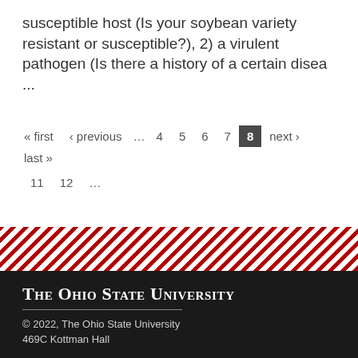susceptible host (Is your soybean variety resistant or susceptible?), 2) a virulent pathogen (Is there a history of a certain disea ...
« first ‹ previous … 4 5 6 7 8 next › last » 11 12 …
[Figure (illustration): Diagonal red and white stripe banner decoration]
The Ohio State University
© 2022, The Ohio State University
469C Kottman Hall